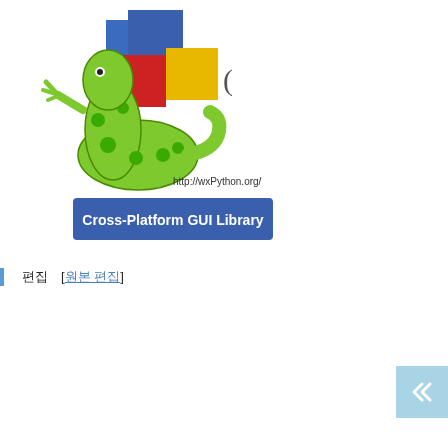[Figure (logo): wxPython logo: green snake cartoon character holding colored geometric shapes (blue, red, yellow rectangles), with text 'http://wxPython.org/' and a blue banner reading 'Cross-Platform GUI Library']
편집  [원본 편집]